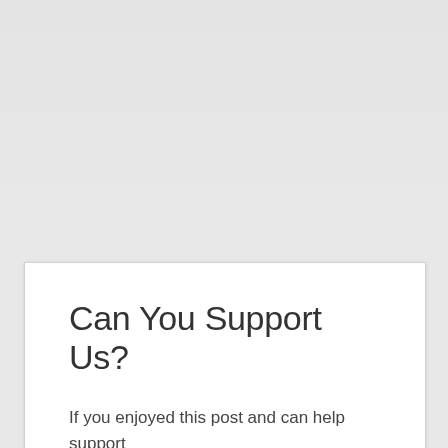Can You Support Us?
If you enjoyed this post and can help support